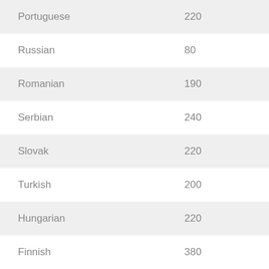| Portuguese | 220 |
| Russian | 80 |
| Romanian | 190 |
| Serbian | 240 |
| Slovak | 220 |
| Turkish | 200 |
| Hungarian | 220 |
| Finnish | 380 |
| French | 160 |
| Croatian | 180 |